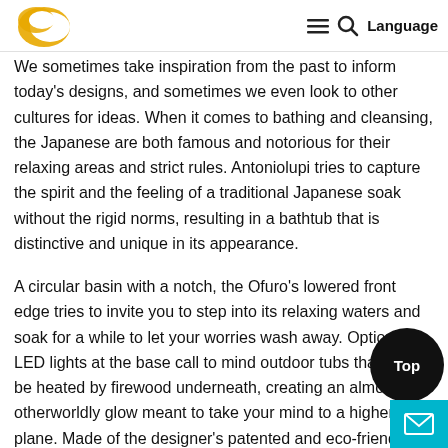Language
We sometimes take inspiration from the past to inform today's designs, and sometimes we even look to other cultures for ideas. When it comes to bathing and cleansing, the Japanese are both famous and notorious for their relaxing areas and strict rules. Antoniolupi tries to capture the spirit and the feeling of a traditional Japanese soak without the rigid norms, resulting in a bathtub that is distinctive and unique in its appearance.
A circular basin with a notch, the Ofuro's lowered front edge tries to invite you to step into its relaxing waters and soak for a while to let your worries wash away. Optional LED lights at the base call to mind outdoor tubs that would be heated by firewood underneath, creating an almost otherworldly glow meant to take your mind to a higher plane. Made of the designer's patented and eco-friendly Flumood, the Ofuro tub looks like it was sculpted from a single block completing the perception of wholeness and integrity that your mind needs your body soaks and relaxes inside.